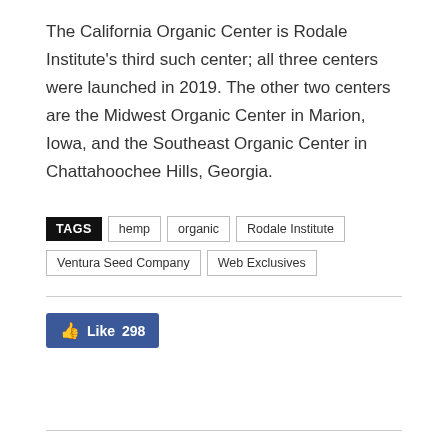The California Organic Center is Rodale Institute's third such center; all three centers were launched in 2019. The other two centers are the Midwest Organic Center in Marion, Iowa, and the Southeast Organic Center in Chattahoochee Hills, Georgia.
TAGS  hemp  organic  Rodale Institute  Ventura Seed Company  Web Exclusives
Like 298
Previous article    Next article